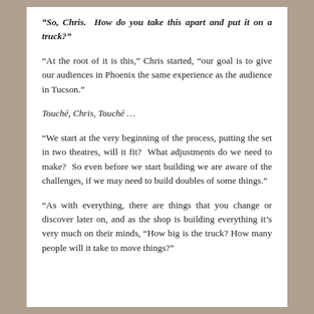“So, Chris. How do you take this apart and put it on a truck?”
“At the root of it is this,” Chris started, “our goal is to give our audiences in Phoenix the same experience as the audience in Tucson.”
Touché, Chris, Touché …
“We start at the very beginning of the process, putting the set in two theatres, will it fit? What adjustments do we need to make? So even before we start building we are aware of the challenges, if we may need to build doubles of some things.”
“As with everything, there are things that you change or discover later on, and as the shop is building everything it’s very much on their minds, “How big is the truck? How many people will it take to move things?”